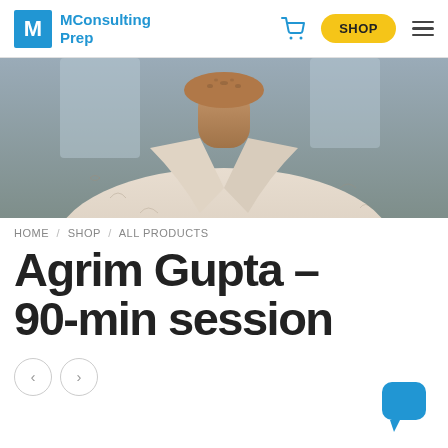MConsulting Prep — SHOP
[Figure (photo): Cropped photo of a person (neck and torso visible) wearing a patterned shirt with face illustrations, blurred background.]
HOME / SHOP / ALL PRODUCTS
Agrim Gupta – 90-min session